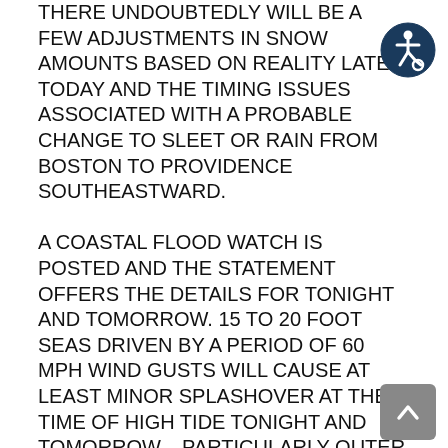THERE UNDOUBTEDLY WILL BE A FEW ADJUSTMENTS IN SNOW AMOUNTS BASED ON REALITY LATER TODAY AND THE TIMING ISSUES ASSOCIATED WITH A PROBABLE CHANGE TO SLEET OR RAIN FROM BOSTON TO PROVIDENCE SOUTHEASTWARD.

A COASTAL FLOOD WATCH IS POSTED AND THE STATEMENT OFFERS THE DETAILS FOR TONIGHT AND TOMORROW. 15 TO 20 FOOT SEAS DRIVEN BY A PERIOD OF 60 MPH WIND GUSTS WILL CAUSE AT LEAST MINOR SPLASHOVER AT THE TIME OF HIGH TIDE TONIGHT AND TOMORROW... PARTICULARLY OUTER CAPE COD AS WELL AS PLYMOUTH TO NEWBURYPORT! IF MODERATE FLOODING IS ANTICIPATED A COASTAL FLOOD WARNING WOULD BE ISSUED.
[Figure (illustration): Accessibility icon: dark blue circle with white wheelchair user symbol]
[Figure (illustration): Scroll-to-top button: grey rounded rectangle with white upward chevron arrow]